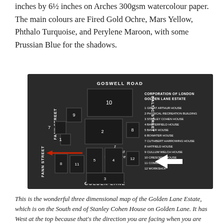inches by 6½ inches on Arches 300gsm watercolour paper. The main colours are Fired Gold Ochre, Mars Yellow, Phthalo Turquoise, and Perylene Maroon, with some Prussian Blue for the shadows.
[Figure (photo): A three-dimensional map plaque of the Golden Lane Estate showing a raised relief map with numbered buildings. Streets labeled: Goswell Road (top), Golden Lane (bottom), Fann Street (left, repeated), Baltic Street (right). Buildings numbered 1-12 with a legend on the right side listing: 1 Great Arthur House, 2 Physical Recreation Building, 3 Stanley Cohen House, 4 Basterfield House, 5 Bayer House, 6 Bowater House, 7 Cuthbert Harrowing House, 8 Hatfield House, 9 Cullum Welch House, 10 Crescent House, 11 Community Centre, 12 Workshop. Header reads: Corporation of London Golden Lane Estate. A red arrow points to a spot labeled 'I sketched from here'. A white arrow points right.]
This is the wonderful three dimensional map of the Golden Lane Estate, which is on the South end of Stanley Cohen House on Golden Lane. It has West at the top because that's the direction you are facing when you are